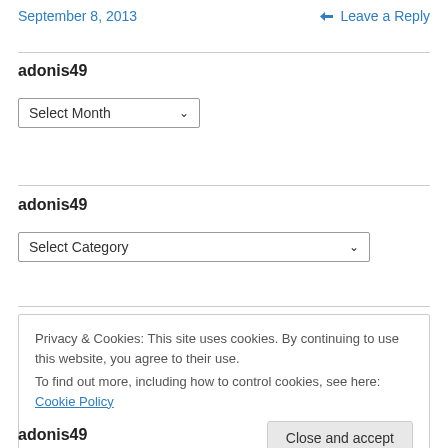September 8, 2013   Leave a Reply
adonis49
Select Month (dropdown)
adonis49
Select Category (dropdown)
Privacy & Cookies: This site uses cookies. By continuing to use this website, you agree to their use.
To find out more, including how to control cookies, see here: Cookie Policy
Close and accept
adonis49